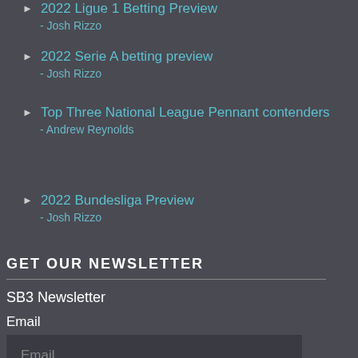2022 Ligue 1 Betting Preview - Josh Rizzo
2022 Serie A betting preview - Josh Rizzo
Top Three National League Pennant contenders - Andrew Reynolds
2022 Bundesliga Preview - Josh Rizzo
GET OUR NEWSLETTER
SB3 Newsletter
Email